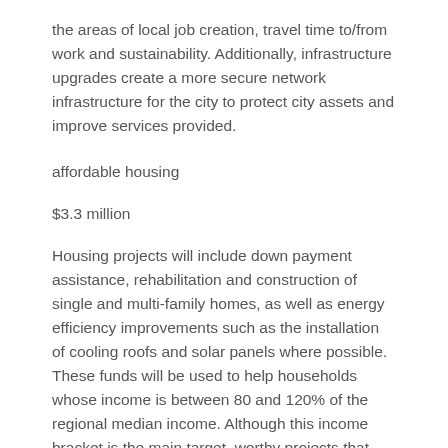the areas of local job creation, travel time to/from work and sustainability. Additionally, infrastructure upgrades create a more secure network infrastructure for the city to protect city assets and improve services provided.
affordable housing
$3.3 million
Housing projects will include down payment assistance, rehabilitation and construction of single and multi-family homes, as well as energy efficiency improvements such as the installation of cooling roofs and solar panels where possible. These funds will be used to help households whose income is between 80 and 120% of the regional median income. Although this income bracket is the main target, worthy projects that help households with an average income of less than 80% will also be considered.